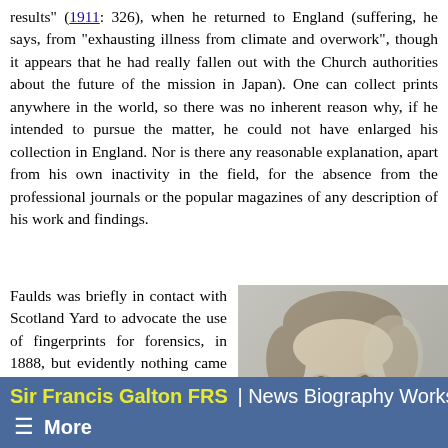results" (1911: 326), when he returned to England (suffering, he says, from "exhausting illness from climate and overwork", though it appears that he had really fallen out with the Church authorities about the future of the mission in Japan). One can collect prints anywhere in the world, so there was no inherent reason why, if he intended to pursue the matter, he could not have enlarged his collection in England. Nor is there any reasonable explanation, apart from his own inactivity in the field, for the absence from the professional journals or the popular magazines of any description of his work and findings.
Faulds was briefly in contact with Scotland Yard to advocate the use of fingerprints for forensics, in 1888, but evidently nothing came of this. The police may have considered Faulds a harmless crank, an impression that might have been reinforced by his aggressive personality. With
[Figure (photo): Black and white portrait photograph of a bearded man, likely late 19th century, shown from shoulders up in three-quarter view.]
Sir Francis Galton FRS | News Biography Works ☰ More